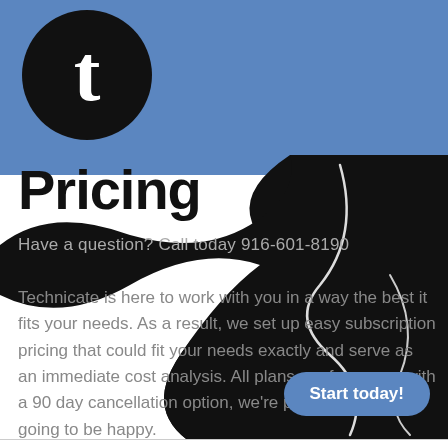[Figure (logo): Black circle with white letter 't' in serif font — Technicate logo]
Pricing
Have a question? Call today 916-601-8190
Technicate is here to work with you in a way the best it fits your needs. As a result, we set up easy subscription pricing that could fit your needs exactly and serve as an immediate cost analysis. All plans are for a year with a 90 day cancellation option, we're pretty sure you're going to be happy.
[Figure (illustration): Large black curved shape with white abstract line art (guitar/signature) in background]
Start today!